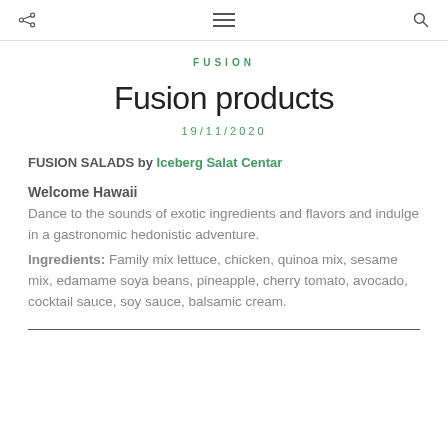share / menu / search
FUSION
Fusion products
19/11/2020
FUSION SALADS by Iceberg Salat Centar
Welcome Hawaii
Dance to the sounds of exotic ingredients and flavors and indulge in a gastronomic hedonistic adventure.
Ingredients: Family mix lettuce, chicken, quinoa mix, sesame mix, edamame soya beans, pineapple, cherry tomato, avocado, cocktail sauce, soy sauce, balsamic cream.